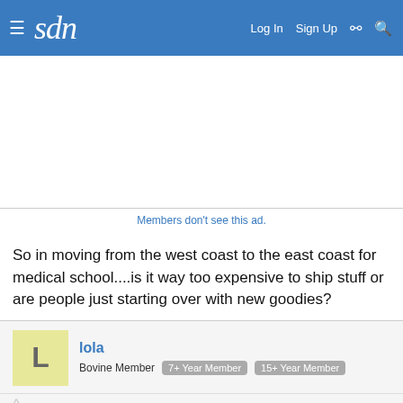sdn  Log In  Sign Up
Members don't see this ad.
So in moving from the west coast to the east coast for medical school....is it way too expensive to ship stuff or are people just starting over with new goodies?
lola
Bovine Member  7+ Year Member  15+ Year Member
Aug 2, 2002  #2
it's pretty expensive to ship stuff. i have moved from cali to ny